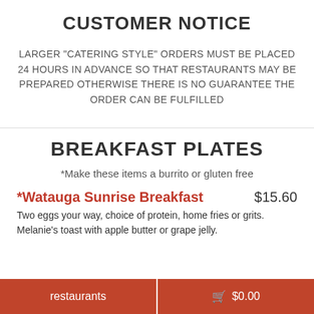CUSTOMER NOTICE
LARGER "CATERING STYLE" ORDERS MUST BE PLACED 24 HOURS IN ADVANCE SO THAT RESTAURANTS MAY BE PREPARED OTHERWISE THERE IS NO GUARANTEE THE ORDER CAN BE FULFILLED
BREAKFAST PLATES
*Make these items a burrito or gluten free
*Watauga Sunrise Breakfast   $15.60
Two eggs your way, choice of protein, home fries or grits. Melanie's toast with apple butter or grape jelly.
restaurants   $0.00